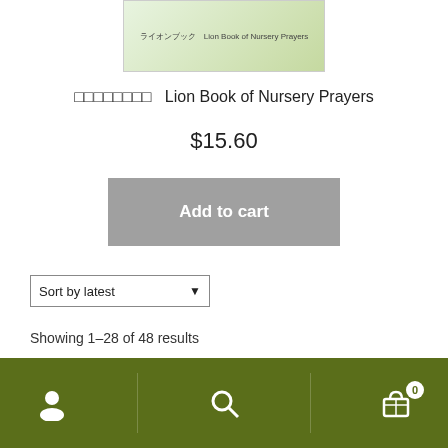[Figure (photo): Book cover image for Lion Book of Nursery Prayers with Japanese text]
□□□□□□□□  Lion Book of Nursery Prayers
$15.60
Add to cart
Sort by latest
Showing 1–28 of 48 results
1  2  ▶
User icon | Search icon | Cart icon (0)